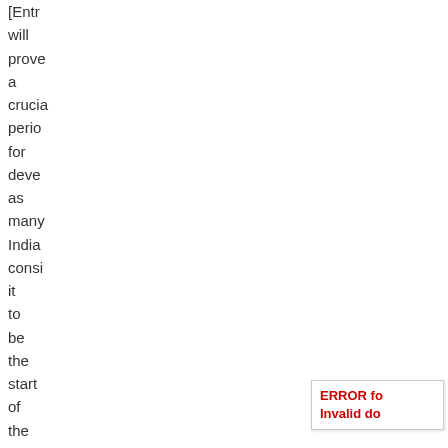will prove a crucial period for development as many Indians consider it to be the start of the Hindu business year and an auspicious time to start
ERROR fo Invalid do